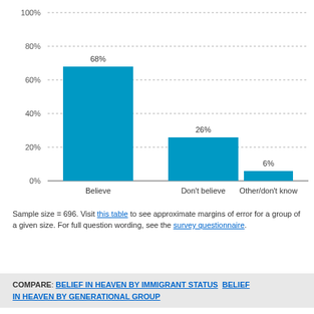[Figure (bar-chart): ]
Sample size = 696. Visit this table to see approximate margins of error for a group of a given size. For full question wording, see the survey questionnaire.
COMPARE: BELIEF IN HEAVEN BY IMMIGRANT STATUS   BELIEF IN HEAVEN BY GENERATIONAL GROUP